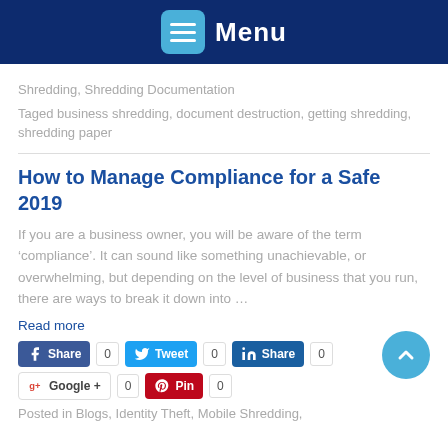Menu
Shredding, Shredding Documentation
Taged business shredding, document destruction, getting shredding, shredding paper
How to Manage Compliance for a Safe 2019
If you are a business owner, you will be aware of the term ‘compliance’. It can sound like something unachievable, or overwhelming, but depending on the level of business that you run, there are ways to break it down into …
Read more
Share  0   Tweet  0   Share  0   Google +  0   Pin  0
Posted in Blogs, Identity Theft, Mobile Shredding,